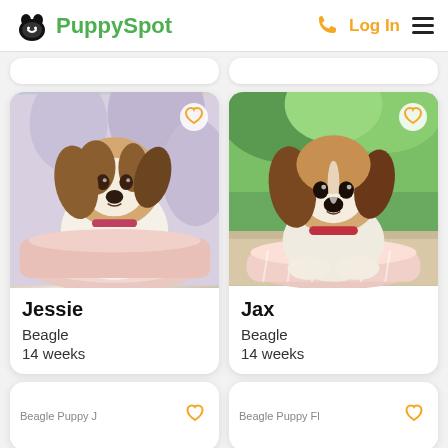PuppySpot — Log In
[Figure (photo): Beagle puppy named Jessie sitting in a pink dog bed with floral background]
Jessie
Beagle
14 weeks
[Figure (photo): Beagle puppy named Jax sitting in a pink dog bed outdoors on grass]
Jax
Beagle
14 weeks
[Figure (photo): Beagle Puppy (partial, bottom left card)]
[Figure (photo): Beagle Puppy (partial, bottom right card)]